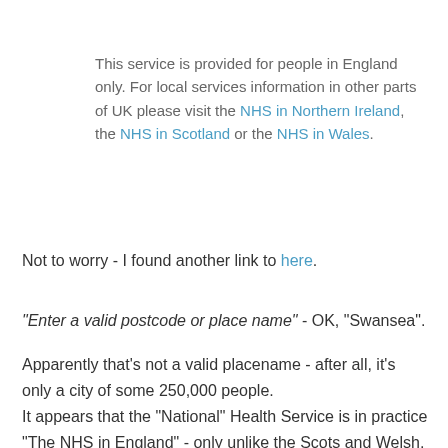This service is provided for people in England only. For local services information in other parts of UK please visit the NHS in Northern Ireland, the NHS in Scotland or the NHS in Wales.
Not to worry - I found another link to here.
"Enter a valid postcode or place name" - OK, "Swansea".
Apparently that's not a valid placename - after all, it's only a city of some 250,000 people.
It appears that the "National" Health Service is in practice "The NHS in England" - only unlike the Scots and Welsh, the name of the English nation is verboten. If you enter "SA3 2BT" on this page you're told :